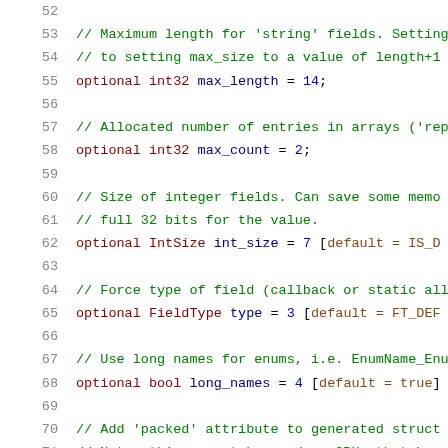52  (blank)
53      // Maximum length for 'string' fields. Setting
54      // to setting max_size to a value of length+1
55      optional int32 max_length = 14;
56  (blank)
57      // Allocated number of entries in arrays ('rep
58      optional int32 max_count = 2;
59  (blank)
60      // Size of integer fields. Can save some memo
61      // full 32 bits for the value.
62      optional IntSize int_size = 7 [default = IS_D
63  (blank)
64      // Force type of field (callback or static all
65      optional FieldType type = 3 [default = FT_DEF
66  (blank)
67      // Use long names for enums, i.e. EnumName_Enu
68      optional bool long_names = 4 [default = true]
69  (blank)
70      // Add 'packed' attribute to generated struct
71      // Note: this cannot be used on CPUs that brea
72      // accesses to variables.